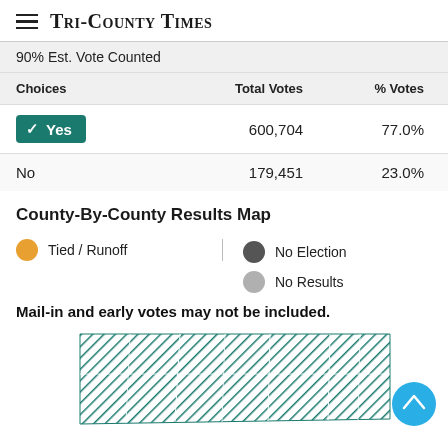Tri-County Times
90% Est. Vote Counted
| Choices | Total Votes | % Votes |
| --- | --- | --- |
| ✓ Yes | 600,704 | 77.0% |
| No | 179,451 | 23.0% |
County-By-County Results Map
Tied / Runoff
No Election
No Results
Mail-in and early votes may not be included.
[Figure (map): County-by-county results map of North Dakota showing teal hatched pattern indicating Yes results across counties.]